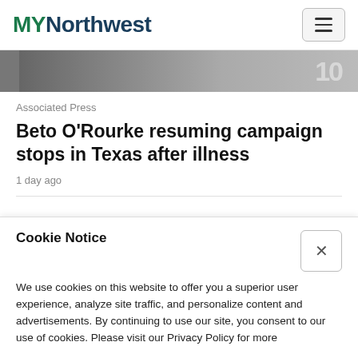MYNorthwest
[Figure (photo): Partial photo strip showing a person or crowd scene, cropped at the top]
Associated Press
Beto O’Rourke resuming campaign stops in Texas after illness
1 day ago
Cookie Notice
We use cookies on this website to offer you a superior user experience, analyze site traffic, and personalize content and advertisements. By continuing to use our site, you consent to our use of cookies. Please visit our Privacy Policy for more